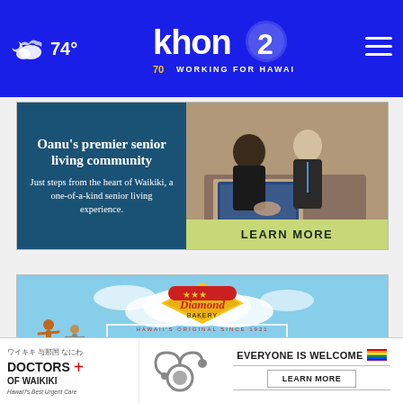74° | KHON2 — Working for Hawaii
[Figure (photo): Advertisement for Oahu senior living community: left side shows text 'Oahu's premier senior living community / Just steps from the heart of Waikiki, a one-of-a-kind senior living experience.' on teal background; right side shows photo of two women (caregiver and senior) with 'LEARN MORE' button]
[Figure (photo): Advertisement for Diamond Bakery Hawaii showing '15% OFF' in large white text over a beach/ocean background with people jumping, Diamond Bakery logo at top, and a close (X) button]
[Figure (photo): Bottom banner ad for Doctors of Waikiki (Hawaii's Best Urgent Care) with red cross logo and stethoscope; right side says 'EVERYONE IS WELCOME' with pride flag and 'LEARN MORE' button]